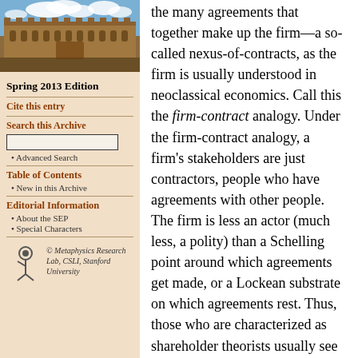[Figure (photo): Aerial/exterior photo of a university building (stone architecture) with blue sky and clouds]
Spring 2013 Edition
Cite this entry
Search this Archive
• Advanced Search
Table of Contents
• New in this Archive
Editorial Information
• About the SEP
• Special Characters
© Metaphysics Research Lab, CSLI, Stanford University
the many agreements that together make up the firm—a so-called nexus-of-contracts, as the firm is usually understood in neoclassical economics. Call this the firm-contract analogy. Under the firm-contract analogy, a firm's stakeholders are just contractors, people who have agreements with other people. The firm is less an actor (much less, a polity) than a Schelling point around which agreements get made, or a Lockean substrate on which agreements rest. Thus, those who are characterized as shareholder theorists usually see prescriptions of normative political philosophy derived